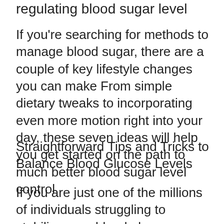regulating blood sugar level
If you're searching for methods to manage blood sugar, there are a couple of key lifestyle changes you can make From simple dietary tweaks to incorporating even more motion right into your day, these seven ideas will help you get started on the path to much better blood sugar level control
Straightforward Tips and Tricks to Balance Blood Glucose Levels
If you are just one of the millions of individuals struggling to stabilize your blood glucose levels, this detailed guide is for you